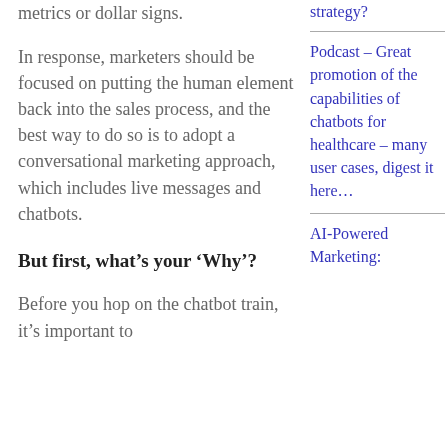metrics or dollar signs.
In response, marketers should be focused on putting the human element back into the sales process, and the best way to do so is to adopt a conversational marketing approach, which includes live messages and chatbots.
But first, what’s your ‘Why’?
Before you hop on the chatbot train, it’s important to determine what you’d like to
strategy?
Podcast – Great promotion of the capabilities of chatbots for healthcare – many user cases, digest it here…
AI-Powered Marketing: